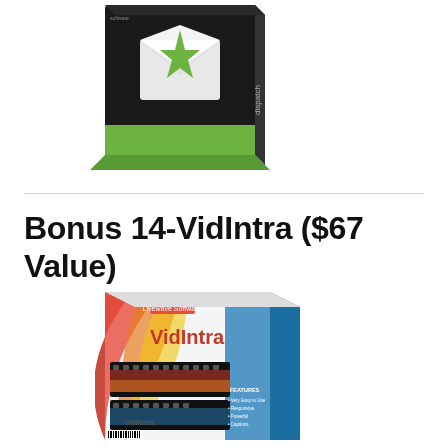[Figure (illustration): Software product box with black and green design, envelope/email icon, partial 'dispatch' text visible on side]
Bonus 14-VidIntra ($67 Value)
[Figure (illustration): VidIntra software product box with colorful swirl design showing film strips and video imagery, features list on front including 'Very Easy to Use', 'Responsive', 'Powerful', 'Captions']